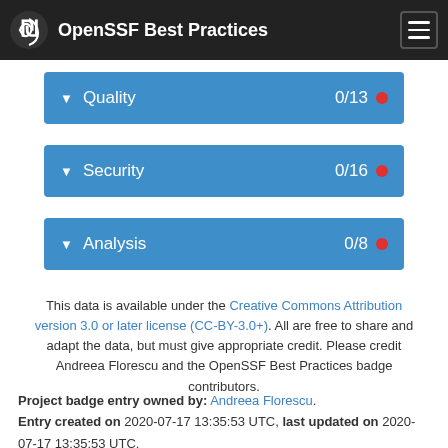OpenSSF Best Practices
Quality 0/13
Security 0/16
Analysis 0/8
This data is available under the Creative Commons Attribution version 3.0 or later license (CC-BY-3.0+). All are free to share and adapt the data, but must give appropriate credit. Please credit Andreea Florescu and the OpenSSF Best Practices badge contributors.
Project badge entry owned by: Andreea Florescu. Entry created on 2020-07-17 13:35:53 UTC, last updated on 2020-07-17 13:35:53 UTC.